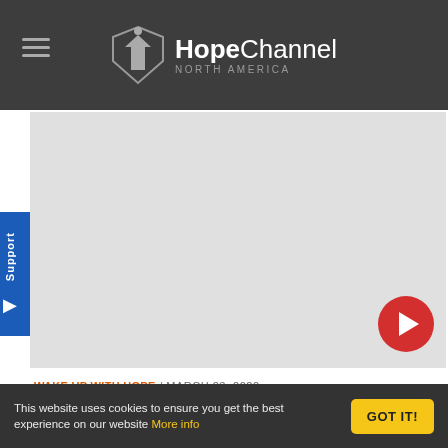Hope Channel North America
[Figure (screenshot): Video thumbnail placeholder — large light gray rectangle with a red circular play button in the lower right corner]
Support
WAKE UP WITH HOPE / MARCH 23, 2022
Wake up With Hope March 23, 2022
This website uses cookies to ensure you get the best experience on our website More info   GOT IT!